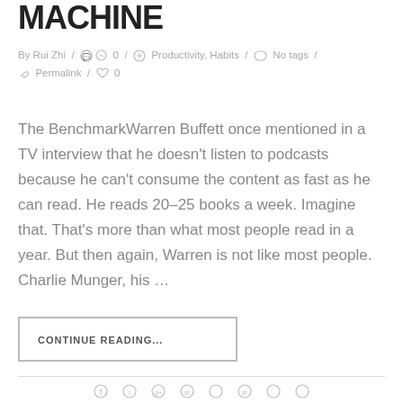MACHINE
By Rui Zhi / 🗨 0 / 🏷 Productivity, Habits / 🏷 No tags / 🔗 Permalink / ♡ 0
The BenchmarkWarren Buffett once mentioned in a TV interview that he doesn't listen to podcasts because he can't consume the content as fast as he can read. He reads 20–25 books a week. Imagine that. That's more than what most people read in a year. But then again, Warren is not like most people. Charlie Munger, his …
CONTINUE READING...